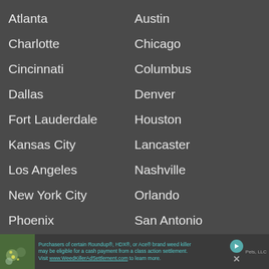Atlanta
Austin
Charlotte
Chicago
Cincinnati
Columbus
Dallas
Denver
Fort Lauderdale
Houston
Kansas City
Lancaster
Los Angeles
Nashville
New York City
Orlando
Phoenix
San Antonio
San Diego
Seattle
Springfield
Saint Louis
Tampa
Tulsa
Purchasers of certain Roundup®, HDX®, or Ace® brand weed killer may be eligible for a cash payment from a class action settlement. Visit www.WeedKillerAdSettlement.com to learn more.